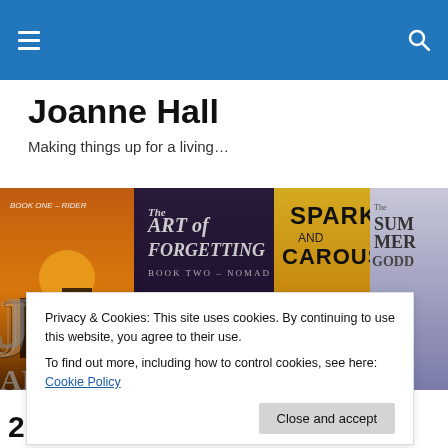Navigation bar with hamburger menu and search icon
Joanne Hall
Making things up for a living…
[Figure (photo): Book banner image showing multiple book covers by Joanne Hall including 'Book One – Rider', 'The Art of Forgetting', 'Spark and Carousel', and 'The Summer Goddess', with large 'Joanne Hall' text overlaid]
Privacy & Cookies: This site uses cookies. By continuing to use this website, you agree to their use.
To find out more, including how to control cookies, see here: Cookie Policy
2013 Year in Review – Some